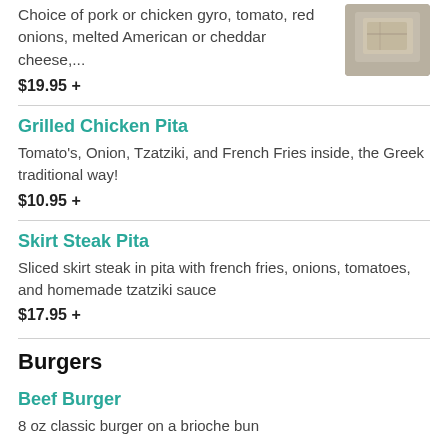Choice of pork or chicken gyro, tomato, red onions, melted American or cheddar cheese,...
[Figure (photo): Photo of a food item in a container, top-right corner]
$19.95 +
Grilled Chicken Pita
Tomato's, Onion, Tzatziki, and French Fries inside, the Greek traditional way!
$10.95 +
Skirt Steak Pita
Sliced skirt steak in pita with french fries, onions, tomatoes, and homemade tzatziki sauce
$17.95 +
Burgers
Beef Burger
8 oz classic burger on a brioche bun